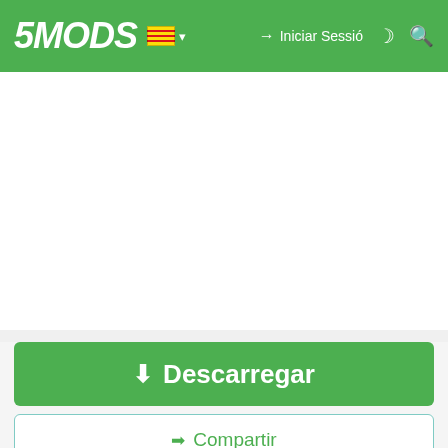5MODS — Iniciar Sessió
[Figure (screenshot): Blank white advertisement space]
Descarregar
Compartir
[Figure (logo): Road Runner Superbird circular logo with cartoon bird]
go-mango-superbird